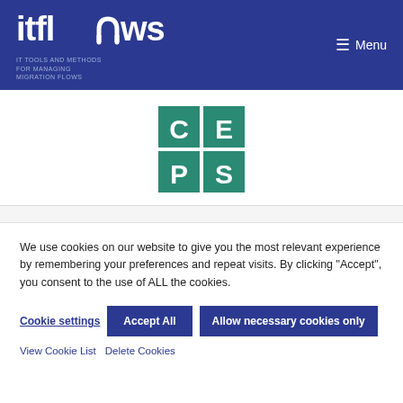[Figure (logo): ITflows logo: stylized text 'itflows' with arch symbol replacing 'o', subtitle 'IT TOOLS AND METHODS FOR MANAGING MIGRATION FLOWS' on dark blue background]
[Figure (logo): CEPS logo: teal/green square divided into four quadrants with letters C, E, P, S]
We use cookies on our website to give you the most relevant experience by remembering your preferences and repeat visits. By clicking “Accept”, you consent to the use of ALL the cookies.
Cookie settings  Accept All  Allow necessary cookies only
View Cookie List  Delete Cookies